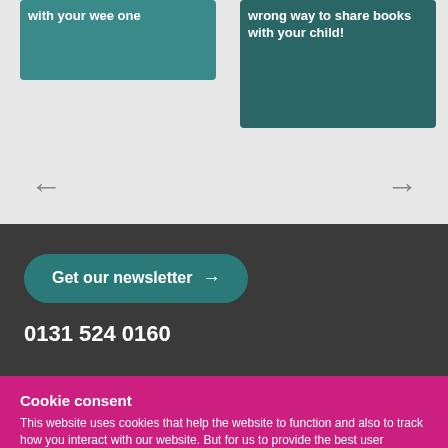[Figure (illustration): Partial card thumbnail with teal background showing text 'with your wee one']
[Figure (illustration): Card thumbnail with dark teal background showing text 'wrong way to share books with your child!']
← →
Get our newsletter →
0131 524 0160
Cookie consent
This website uses cookies that help the website to function and also to track how you interact with our website. But for us to provide the best user experience, enable the specific cookies from Settings, and click on Accept. Read more.
Preferences  Reject All  Accept All